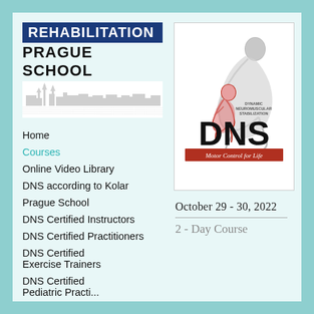[Figure (logo): Rehabilitation Prague School logo with blue banner reading REHABILITATION, PRAGUE SCHOOL text below, and a skyline illustration of Prague]
Home
Courses
Online Video Library
DNS according to Kolar
Prague School
DNS Certified Instructors
DNS Certified Practitioners
DNS Certified Exercise Trainers
DNS Certified Pediatric Practiti...
[Figure (logo): DNS - Dynamic Neuromuscular Stabilization logo with figure illustration and Motor Control for Life tagline]
October 29 - 30, 2022
2 - Day Course